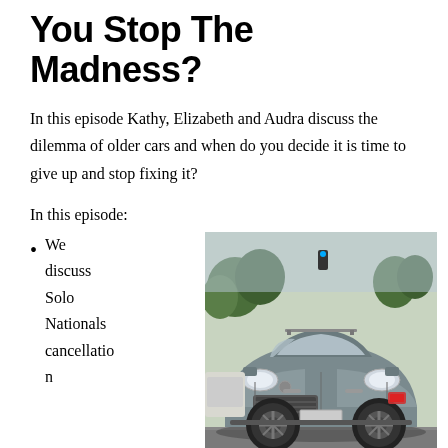You Stop The Madness?
In this episode Kathy, Elizabeth and Audra discuss the dilemma of older cars and when do you decide it is time to give up and stop fixing it?
In this episode:
We discuss Solo Nationals cancellation
[Figure (photo): A gray Porsche Cayenne SUV parked outdoors, front three-quarter view, with trees in the background.]
Give some updates on COVID impacts
Is cost or time the biggest factor in deciding to stop